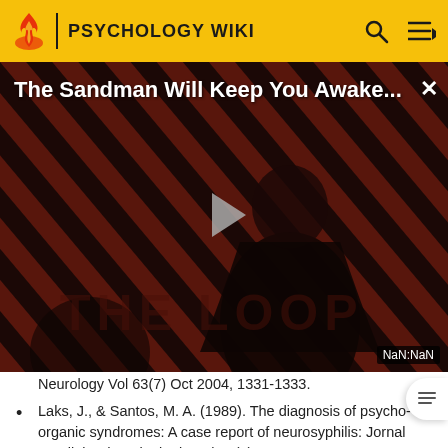PSYCHOLOGY WIKI
[Figure (screenshot): Video thumbnail overlay showing 'The Sandman Will Keep You Awake...' with a dark figure on a red diagonal-striped background, a play button in the center, 'THE LOOP' text watermark, and 'NaN:NaN' time display in the bottom right corner.]
Neurology Vol 63(7) Oct 2004, 1331-1333.
Laks, J., & Santos, M. A. (1989). The diagnosis of psycho-organic syndromes: A case report of neurosyphilis: Jornal Brasileiro de Psiquiatria Vol 38(5) Sep-Oct 1989, 279-283.
Laurie, G., Echette, A., Berraccoa, P., & Schiidermazzi, A